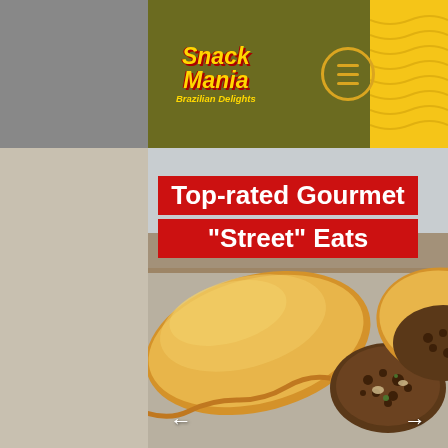[Figure (logo): Snack Mania Brazilian Delights logo with yellow and red text on olive green header background]
[Figure (photo): Close-up photo of Brazilian empanadas (street food pastries), one cut open showing meat filling, on a wooden board background]
Top-rated Gourmet "Street" Eats